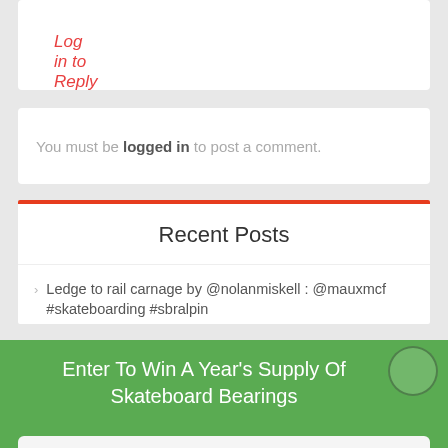Log in to Reply
You must be logged in to post a comment.
Recent Posts
Ledge to rail carnage by @nolanmiskell : @mauxmcf #skateboarding #sbralpin
Enter To Win A Year's Supply Of Skateboard Bearings
Your Email
ENTER GIVEAWAY